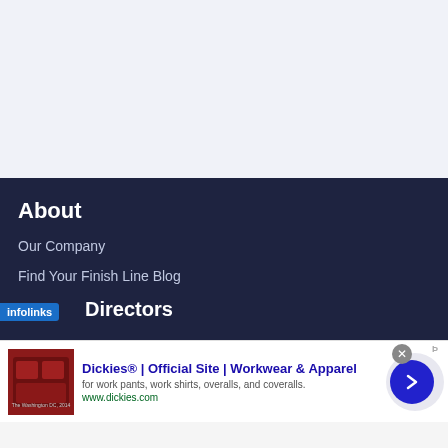About
Our Company
Find Your Finish Line Blog
Directors
[Figure (infographic): Advertisement banner: Dickies® | Official Site | Workwear & Apparel. Image of brown leather seats on left. Ad text: for work pants, work shirts, overalls, and coveralls. www.dickies.com. Blue circle arrow button on right. Infolinks badge overlay. Close button (x) in top right.]